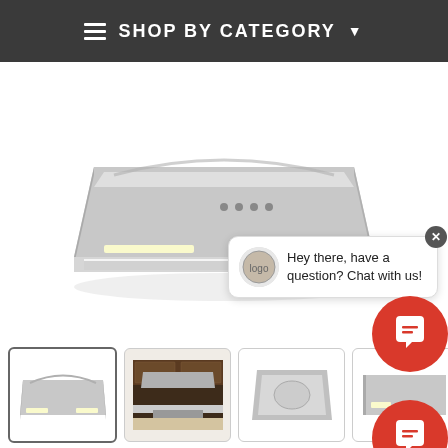SHOP BY CATEGORY
[Figure (photo): Stainless steel under-cabinet range hood / kitchen exhaust fan, viewed from a slight angle showing the front panel and underside lighting]
Hey there, have a question? Chat with us!
[Figure (photo): Four product thumbnail images of the range hood: (1) close-up of the stainless steel hood (selected), (2) kitchen installation context photo, (3) top-down view of the hood, (4) partial side view]